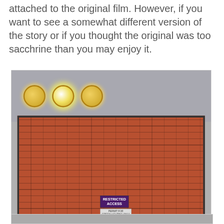attached to the original film. However, if you want to see a somewhat different version of the story or if you thought the original was too sacchrine than you may enjoy it.
[Figure (photo): Photo of a brick wall with a purple arched door at the bottom, a 'RESTRICTED ACCESS' sign in the middle, and three golden circular lights mounted at the top. A black metal railing is visible on the right side. The setting appears to be a theme park or stage set.]